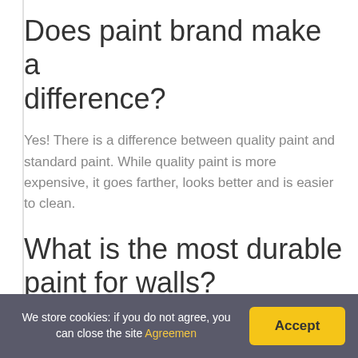Does paint brand make a difference?
Yes! There is a difference between quality paint and standard paint. While quality paint is more expensive, it goes farther, looks better and is easier to clean.
What is the most durable paint for walls?
The winner of the most durable interior paint goes to Benjamin Moore Scuff-X!
What is the most popular
We store cookies: if you do not agree, you can close the site Agreemen